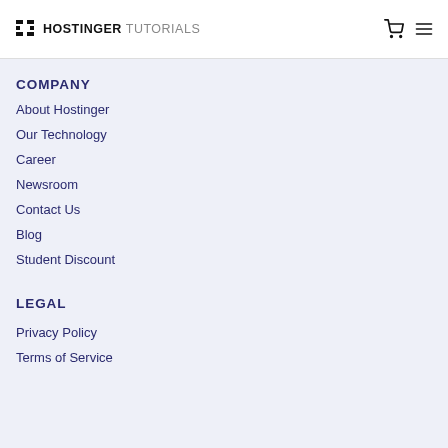HOSTINGER TUTORIALS
COMPANY
About Hostinger
Our Technology
Career
Newsroom
Contact Us
Blog
Student Discount
LEGAL
Privacy Policy
Terms of Service